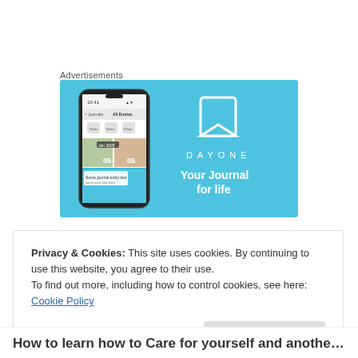Advertisements
[Figure (screenshot): DayOne app advertisement banner with a smartphone mockup showing the app interface on the left and the DayOne logo with tagline 'Your Journal for life' on a light blue background on the right.]
Privacy & Cookies: This site uses cookies. By continuing to use this website, you agree to their use.
To find out more, including how to control cookies, see here: Cookie Policy
Close and accept
How to learn how to Care for yourself and another, how